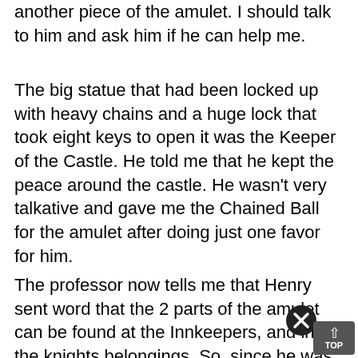another piece of the amulet. I should talk to him and ask him if he can help me.
The big statue that had been locked up with heavy chains and a huge lock that took eight keys to open it was the Keeper of the Castle. He told me that he kept the peace around the castle. He wasn't very talkative and gave me the Chained Ball for the amulet after doing just one favor for him.
The professor now tells me that Henry sent word that the 2 parts of the amulet can be found at the Innkeepers, and in the knights belongings. So, since he was the closest, I headed for the knight.